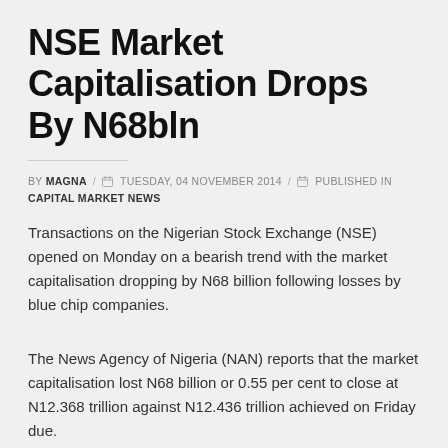NSE Market Capitalisation Drops By N68bln
BY MAGNA / TUESDAY, 04 NOVEMBER 2014 / PUBLISHED IN CAPITAL MARKET NEWS
Transactions on the Nigerian Stock Exchange (NSE) opened on Monday on a bearish trend with the market capitalisation dropping by N68 billion following losses by blue chip companies.
The News Agency of Nigeria (NAN) reports that the market capitalisation lost N68 billion or 0.55 per cent to close at N12.368 trillion against N12.436 trillion achieved on Friday due.